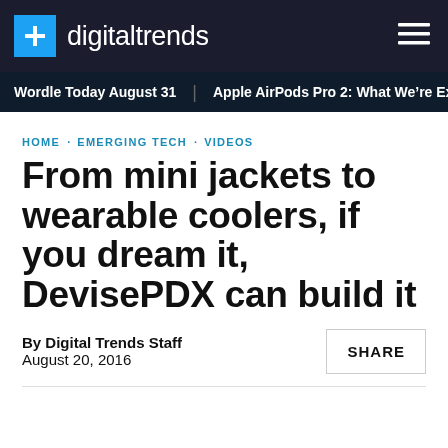digitaltrends
Wordle Today August 31  Apple AirPods Pro 2: What We're Ex
HOME · EMERGING TECH · VIDEOS
From mini jackets to wearable coolers, if you dream it, DevisePDX can build it
By Digital Trends Staff
August 20, 2016
SHARE